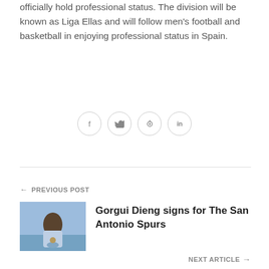officially hold professional status. The division will be known as Liga Ellas and will follow men's football and basketball in enjoying professional status in Spain.
[Figure (other): Social sharing icons: Facebook (f), Twitter (bird), Pinterest (p), LinkedIn (in) — circular outlined buttons]
← PREVIOUS POST
[Figure (photo): Basketball player in light blue jersey holding basketball, action shot on court]
Gorgui Dieng signs for The San Antonio Spurs
NEXT ARTICLE →